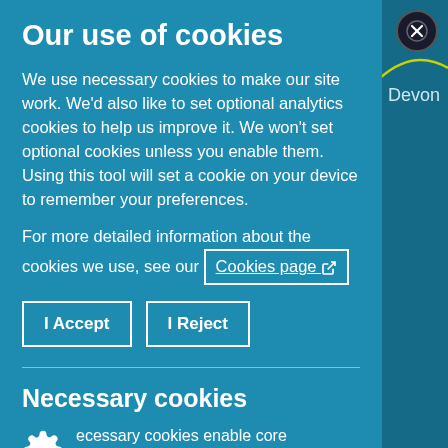Our use of cookies
We use necessary cookies to make our site work. We'd also like to set optional analytics cookies to help us improve it. We won't set optional cookies unless you enable them. Using this tool will set a cookie on your device to remember your preferences.
For more detailed information about the cookies we use, see our Cookies page
I Accept
I Reject
Necessary cookies
ecessary cookies enable core functionality such as network management, and accessibility. You